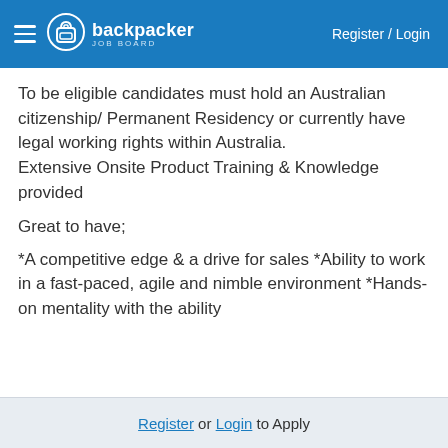backpacker JOB BOARD — Register / Login
To be eligible candidates must hold an Australian citizenship/ Permanent Residency or currently have legal working rights within Australia.
Extensive Onsite Product Training & Knowledge provided
Great to have;
*A competitive edge & a drive for sales *Ability to work in a fast-paced, agile and nimble environment *Hands-on mentality with the ability
Register or Login to Apply